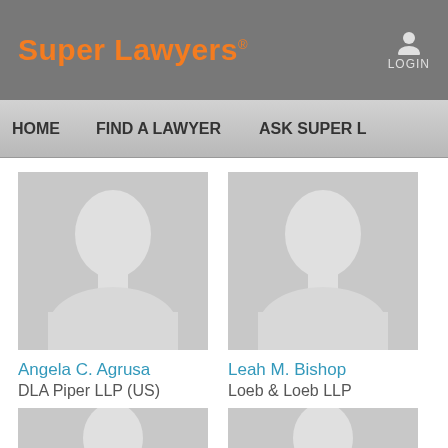Super Lawyers
LOGIN
HOME   FIND A LAWYER   ASK SUPER L...
[Figure (photo): Placeholder silhouette portrait of Angela C. Agrusa]
Angela C. Agrusa
DLA Piper LLP (US)
[Figure (photo): Placeholder silhouette portrait of Leah M. Bishop]
Leah M. Bishop
Loeb & Loeb LLP
[Figure (photo): Placeholder silhouette portrait - partially visible, bottom row left]
[Figure (photo): Placeholder silhouette portrait - partially visible, bottom row right]